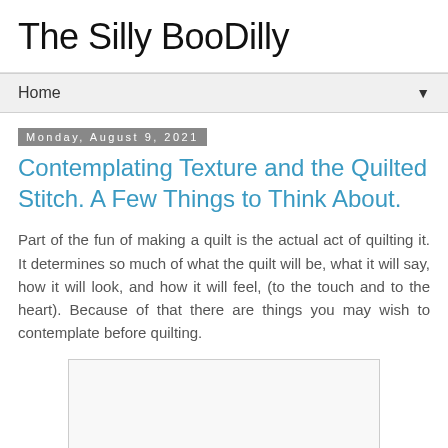The Silly BooDilly
Home
Monday, August 9, 2021
Contemplating Texture and the Quilted Stitch. A Few Things to Think About.
Part of the fun of making a quilt is the actual act of quilting it. It determines so much of what the quilt will be, what it will say, how it will look, and how it will feel, (to the touch and to the heart). Because of that there are things you may wish to contemplate before quilting.
[Figure (other): Image placeholder, white/light gray rectangle with border]